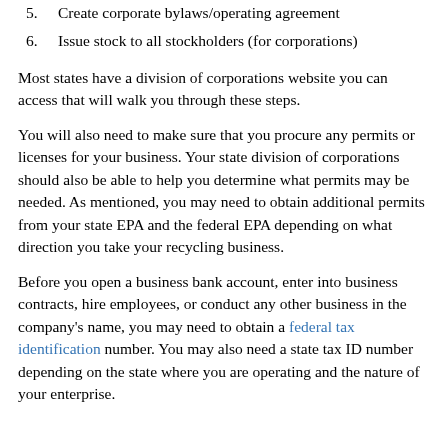5. Create corporate bylaws/operating agreement
6. Issue stock to all stockholders (for corporations)
Most states have a division of corporations website you can access that will walk you through these steps.
You will also need to make sure that you procure any permits or licenses for your business. Your state division of corporations should also be able to help you determine what permits may be needed. As mentioned, you may need to obtain additional permits from your state EPA and the federal EPA depending on what direction you take your recycling business.
Before you open a business bank account, enter into business contracts, hire employees, or conduct any other business in the company's name, you may need to obtain a federal tax identification number. You may also need a state tax ID number depending on the state where you are operating and the nature of your enterprise.